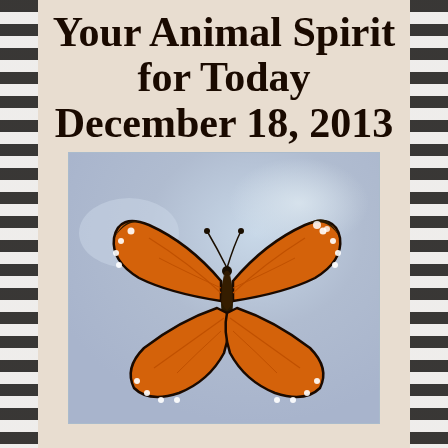Your Animal Spirit for Today December 18, 2013
[Figure (illustration): Illustration of a monarch butterfly with orange and black wings on a soft purple-blue watercolor background]